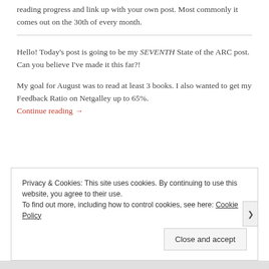reading progress and link up with your own post. Most commonly it comes out on the 30th of every month.
Hello! Today's post is going to be my SEVENTH State of the ARC post. Can you believe I've made it this far?!
My goal for August was to read at least 3 books. I also wanted to get my Feedback Ratio on Netgalley up to 65%.
Continue reading →
Privacy & Cookies: This site uses cookies. By continuing to use this website, you agree to their use.
To find out more, including how to control cookies, see here: Cookie Policy
Close and accept